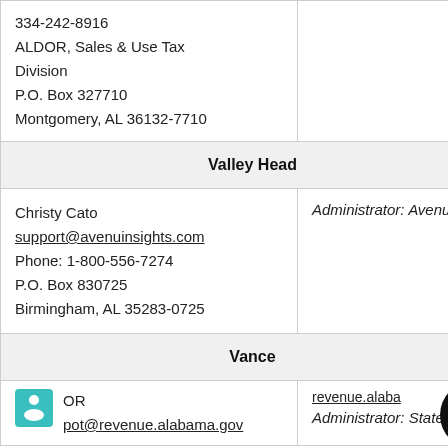| 334-242-8916
ALDOR, Sales & Use Tax Division
P.O. Box 327710
Montgomery, AL 36132-7710 |  |
| Valley Head |  |
| Christy Cato
support@avenuinsights.com
Phone: 1-800-556-7274
P.O. Box 830725
Birmingham, AL 35283-0725 | Administrator: Avenu |
| Vance |  |
| OR
pot@revenue.alabama.gov | revenue.alaba...
Administrator: State |